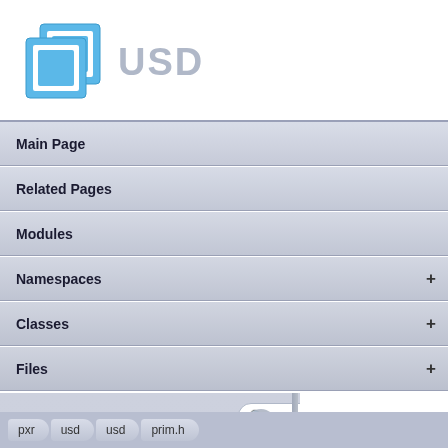[Figure (logo): USD logo with blue stacked square icon and grey USD text]
Main Page
Related Pages
Modules
Namespaces +
Classes +
Files +
prim.h
Go to the documentation of this file.
pxr › usd › usd › prim.h